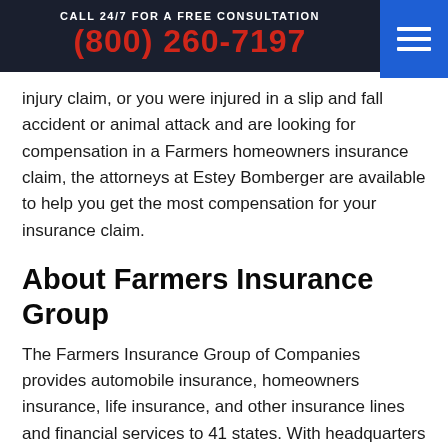CALL 24/7 FOR A FREE CONSULTATION
(800) 260-7197
injury claim, or you were injured in a slip and fall accident or animal attack and are looking for compensation in a Farmers homeowners insurance claim, the attorneys at Estey Bomberger are available to help you get the most compensation for your insurance claim.
About Farmers Insurance Group
The Farmers Insurance Group of Companies provides automobile insurance, homeowners insurance, life insurance, and other insurance lines and financial services to 41 states. With headquarters in Los Angeles, CA, Farmers Insurance services more than 10 million US households and is the third-largest provider of insurance in the United States. Farmers Group has also owned 21st Century Insurance since July 2009.